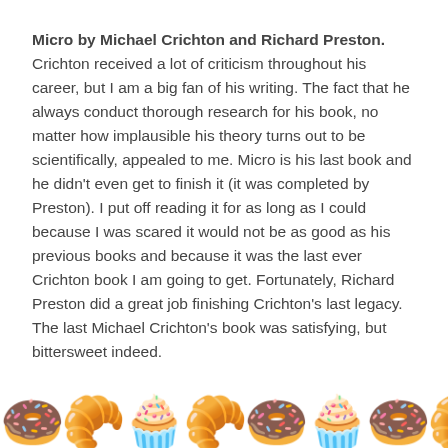Micro by Michael Crichton and Richard Preston. Crichton received a lot of criticism throughout his career, but I am a big fan of his writing. The fact that he always conduct thorough research for his book, no matter how implausible his theory turns out to be scientifically, appealed to me. Micro is his last book and he didn't even get to finish it (it was completed by Preston). I put off reading it for as long as I could because I was scared it would not be as good as his previous books and because it was the last ever Crichton book I am going to get. Fortunately, Richard Preston did a great job finishing Crichton's last legacy. The last Michael Crichton's book was satisfying, but bittersweet indeed.
[Figure (illustration): A repeating horizontal strip of food emoji: donuts, croissants, cupcakes, and pastries in a decorative row at the bottom of the page.]